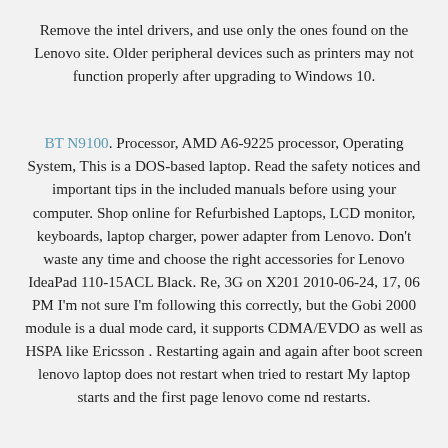Remove the intel drivers, and use only the ones found on the Lenovo site. Older peripheral devices such as printers may not function properly after upgrading to Windows 10.
BT N9100. Processor, AMD A6-9225 processor, Operating System, This is a DOS-based laptop. Read the safety notices and important tips in the included manuals before using your computer. Shop online for Refurbished Laptops, LCD monitor, keyboards, laptop charger, power adapter from Lenovo. Don't waste any time and choose the right accessories for Lenovo IdeaPad 110-15ACL Black. Re, 3G on X201 2010-06-24, 17, 06 PM I'm not sure I'm following this correctly, but the Gobi 2000 module is a dual mode card, it supports CDMA/EVDO as well as HSPA like Ericsson . Restarting again and again after boot screen lenovo laptop does not restart when tried to restart My laptop starts and the first page lenovo come nd restarts.
Lenovo ideapad 110 ideapad 110-14ISK ideapad 110-15ISK User Guide Read the safety notices and important tips in the Read the safety notices and important tips in the included manuals before using your computer. This works in most cases, where the issue is originated due to a system corruption.